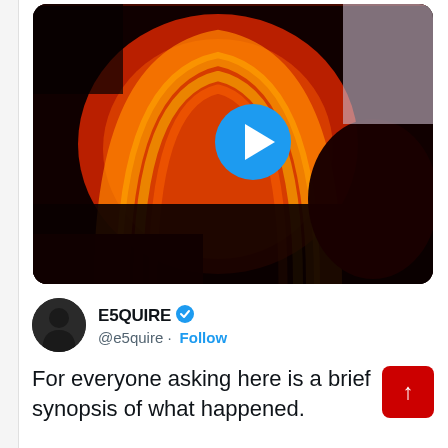[Figure (screenshot): A screenshot of a Twitter/social media post. At the top is a video thumbnail showing a concert stage lit in red and orange with a blue play button overlay. Below is a tweet from user E5QUIRE (@e5quire) with a blue verified checkmark and a Follow button. The tweet text reads: 'For everyone asking here is a brief synopsis of what happened. #DaveChappelle was just finishing his show. He was doing his final commentary'. A red scroll-to-top button is visible in the lower right.]